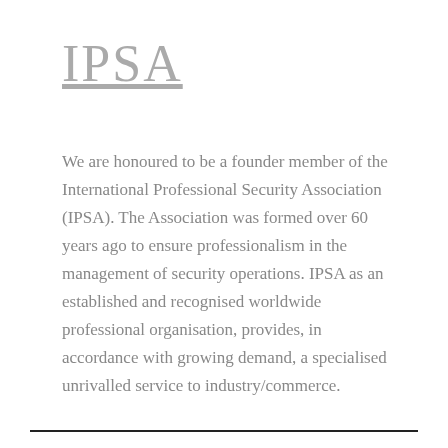IPSA
We are honoured to be a founder member of the International Professional Security Association (IPSA). The Association was formed over 60 years ago to ensure professionalism in the management of security operations. IPSA as an established and recognised worldwide professional organisation, provides, in accordance with growing demand, a specialised unrivalled service to industry/commerce.